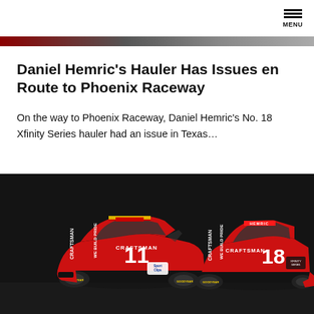MENU
Daniel Hemric’s Hauler Has Issues en Route to Phoenix Raceway
On the way to Phoenix Raceway, Daniel Hemric’s No. 18 Xfinity Series hauler had an issue in Texas…
[Figure (photo): Two red NASCAR Xfinity Series stock cars with Craftsman livery. Car number 11 on the left and car number 18 on the right, both featuring bold red paint scheme with CRAFTSMAN and WE BUILD PRIDE lettering, photographed against a dark background.]